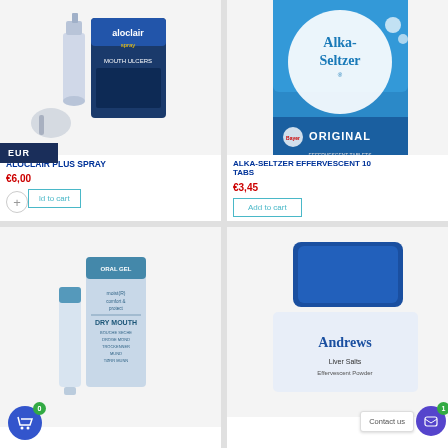[Figure (photo): Aloclair Plus Spray product photo showing spray bottle and packaging box]
ALOCLAIR PLUS SPRAY
€6,00
Add to cart
[Figure (photo): Alka-Seltzer Effervescent 10 Tabs product photo showing blue and white packaging]
ALKA-SELTZER EFFERVESCENT 10 TABS
€3,45
Add to cart
[Figure (photo): Dry Mouth oral gel product tube and packaging]
[Figure (photo): Andrews Liver Salts Effervescent Powder product packaging]